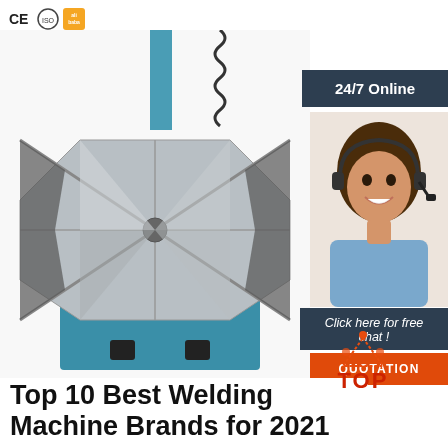[Figure (logo): CE certification badge, ISO certification round badge, and Alibaba gold supplier badge]
[Figure (photo): A welding positioner machine with a 4-jaw metallic chuck plate on top, teal/blue body, with a coiled spring cable and vertical teal rod visible at top. A 24/7 online customer service banner with a smiling woman wearing a headset is overlaid on the right side, with a 'Click here for free chat!' label and an orange QUOTATION button.]
[Figure (logo): Red and orange TOP logo with dot-triangle motif above the word TOP in red]
Top 10 Best Welding Machine Brands for 2021